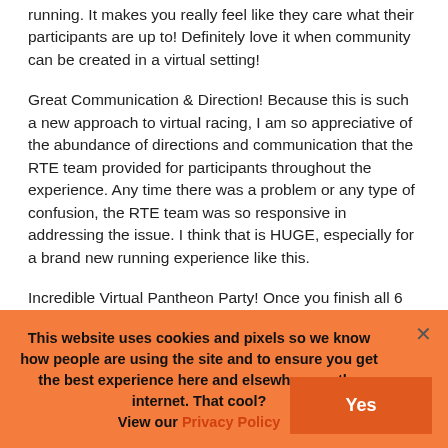running. It makes you really feel like they care what their participants are up to! Definitely love it when community can be created in a virtual setting!
Great Communication & Direction! Because this is such a new approach to virtual racing, I am so appreciative of the abundance of directions and communication that the RTE team provided for participants throughout the experience. Any time there was a problem or any type of confusion, the RTE team was so responsive in addressing the issue. I think that is HUGE, especially for a brand new running experience like this.
Incredible Virtual Pantheon Party! Once you finish all 6 races and puzzles, you'll be admitted into the Pantheon Party which has so many cool little features! There's playlists and recipes based on each of the gods, and there's even giveaways you can enter into for prizes from Asics, Knockaround, and
This website uses cookies and pixels so we know how people are using the site and to ensure you get the best experience here and elsewhere on the internet. That cool? View our Privacy Policy